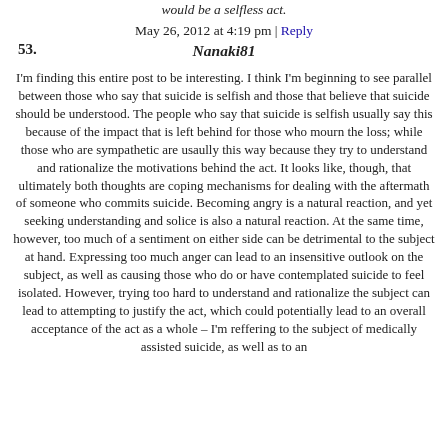would be a selfless act.
May 26, 2012 at 4:19 pm | Reply
53.  Nanaki81
I'm finding this entire post to be interesting. I think I'm beginning to see parallel between those who say that suicide is selfish and those that believe that suicide should be understood. The people who say that suicide is selfish usually say this because of the impact that is left behind for those who mourn the loss; while those who are sympathetic are usaully this way because they try to understand and rationalize the motivations behind the act. It looks like, though, that ultimately both thoughts are coping mechanisms for dealing with the aftermath of someone who commits suicide. Becoming angry is a natural reaction, and yet seeking understanding and solice is also a natural reaction. At the same time, however, too much of a sentiment on either side can be detrimental to the subject at hand. Expressing too much anger can lead to an insensitive outlook on the subject, as well as causing those who do or have contemplated suicide to feel isolated. However, trying too hard to understand and rationalize the subject can lead to attempting to justify the act, which could potentially lead to an overall acceptance of the act as a whole – I'm reffering to the subject of medically assisted suicide, as well as to an